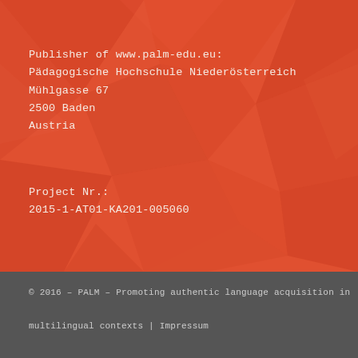Publisher of www.palm-edu.eu:
Pädagogische Hochschule Niederösterreich
Mühlgasse 67
2500 Baden
Austria
Project Nr.:
2015-1-AT01-KA201-005060
© 2016 – PALM – Promoting authentic language acquisition in
multilingual contexts | Impressum